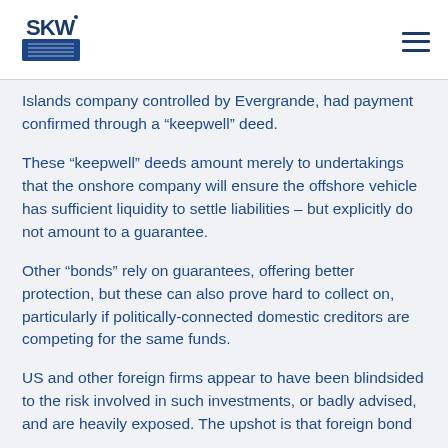SKW logo and navigation menu
Islands company controlled by Evergrande, had payment confirmed through a “keepwell” deed.
These “keepwell” deeds amount merely to undertakings that the onshore company will ensure the offshore vehicle has sufficient liquidity to settle liabilities – but explicitly do not amount to a guarantee.
Other “bonds” rely on guarantees, offering better protection, but these can also prove hard to collect on, particularly if politically-connected domestic creditors are competing for the same funds.
US and other foreign firms appear to have been blindsided to the risk involved in such investments, or badly advised, and are heavily exposed. The upshot is that foreign bond investors may find that they are on the hook for little...